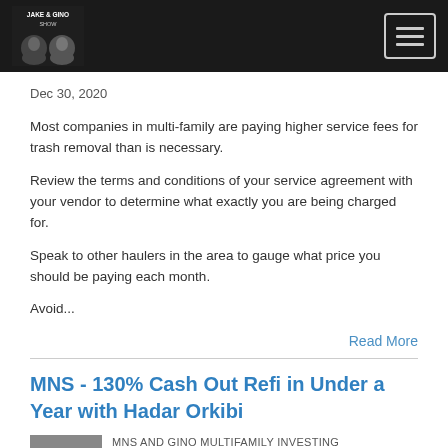Jake & Gino Show — navigation bar with logo and hamburger menu
Dec 30, 2020
Most companies in multi-family are paying higher service fees for trash removal than is necessary.
Review the terms and conditions of your service agreement with your vendor to determine what exactly you are being charged for.
Speak to other haulers in the area to gauge what price you should be paying each month.
Avoid...
Read More
MNS - 130% Cash Out Refi in Under a Year with Hadar Orkibi
MNS AND GINO MULTIFAMILY INVESTING ENTREPRENEURS